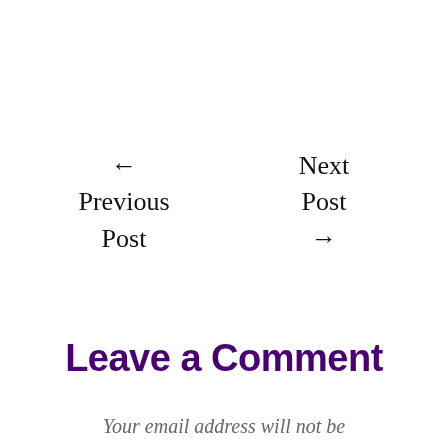← Previous Post
Next Post →
Leave a Comment
Your email address will not be